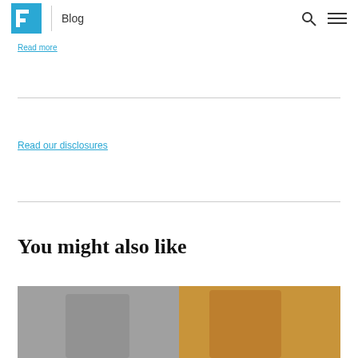Blog
Read more
Read our disclosures
You might also like
[Figure (photo): Photograph of two people, partially visible, one wearing a grey striped top and one wearing a yellow/mustard jacket]